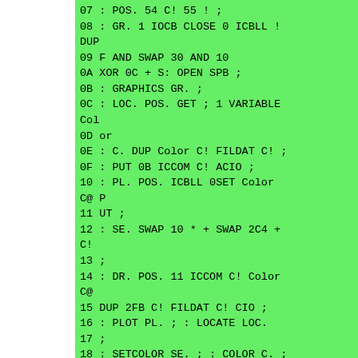07 : POS. 54 C! 55 ! ;
08 : GR. 1 IOCB CLOSE 0 ICBLL !
DUP
09 F AND SWAP 30 AND 10
0A XOR 0C + S: OPEN SPB ;
0B : GRAPHICS GR. ;
0C : LOC. POS. GET ; 1 VARIABLE
Col
0D or
0E : C. DUP Color C! FILDAT C! ;
0F : PUT 0B ICCOM C! ACIO ;
10 : PL. POS. ICBLL 0SET Color
C@ P
11 UT ;
12 : SE. SWAP 10 * + SWAP 2C4 +
C!
13 ;
14 : DR. POS. 11 ICCOM C! Color
C@
15 DUP 2FB C! FILDAT C! CIO ;
16 : PLOT PL. ; : LOCATE LOC.
17 ;
18 : SETCOLOR SE. ; : COLOR C. ;
19